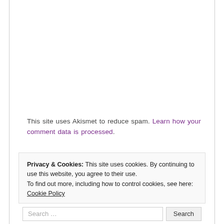This site uses Akismet to reduce spam. Learn how your comment data is processed.
Privacy & Cookies: This site uses cookies. By continuing to use this website, you agree to their use. To find out more, including how to control cookies, see here: Cookie Policy
Close and accept
Search ...